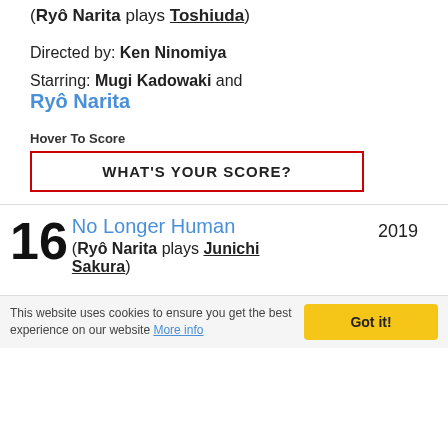(Ryô Narita plays Toshiuda)
Directed by: Ken Ninomiya
Starring: Mugi Kadowaki and Ryô Narita
Hover To Score
WHAT'S YOUR SCORE?
16 No Longer Human 2019
(Ryô Narita plays Junichi Sakura)
Directed by: Mika Ninagawa
Starring: Yudai Chiba and
This website uses cookies to ensure you get the best experience on our website More info Got it!